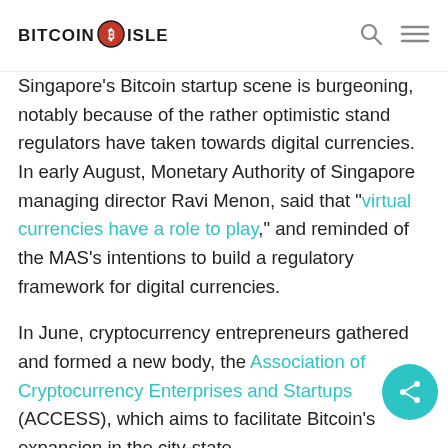BITCOIN ISLE
Singapore's Bitcoin startup scene is burgeoning, notably because of the rather optimistic stand regulators have taken towards digital currencies. In early August, Monetary Authority of Singapore managing director Ravi Menon, said that "virtual currencies have a role to play," and reminded of the MAS's intentions to build a regulatory framework for digital currencies.
In June, cryptocurrency entrepreneurs gathered and formed a new body, the Association of Cryptocurrency Enterprises and Startups (ACCESS), which aims to facilitate Bitcoin's expansion in the city-state.